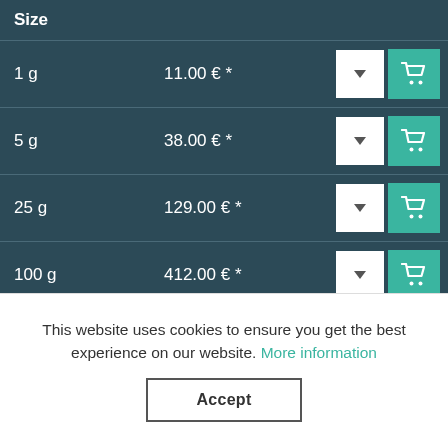| Size |  |  |
| --- | --- | --- |
| 1 g | 11.00 € * |  |
| 5 g | 38.00 € * |  |
| 25 g | 129.00 € * |  |
| 100 g | 412.00 € * |  |
| 250 g | 710.00 € * |  |
This website uses cookies to ensure you get the best experience on our website. More information